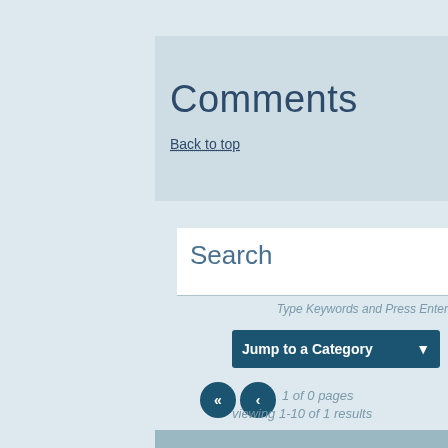Comments
Back to top
Search
Type Keywords and Press Enter
Jump to a Category
1 of 0 pages
viewing 1-10 of 1 results